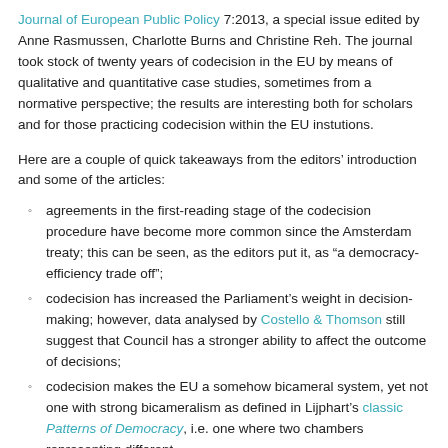Journal of European Public Policy 7:2013, a special issue edited by Anne Rasmussen, Charlotte Burns and Christine Reh. The journal took stock of twenty years of codecision in the EU by means of qualitative and quantitative case studies, sometimes from a normative perspective; the results are interesting both for scholars and for those practicing codecision within the EU instutions.
Here are a couple of quick takeaways from the editors' introduction and some of the articles:
agreements in the first-reading stage of the codecision procedure have become more common since the Amsterdam treaty; this can be seen, as the editors put it, as “a democracy-efficiency trade off”;
codecision has increased the Parliament’s weight in decision-making; however, data analysed by Costello & Thomson still suggest that Council has a stronger ability to affect the outcome of decisions;
codecision makes the EU a somehow bicameral system, yet not one with strong bicameralism as defined in Lijphart’s classic Patterns of Democracy, i.e. one where two chambers representing different